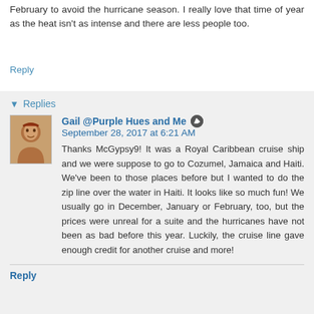February to avoid the hurricane season. I really love that time of year as the heat isn't as intense and there are less people too.
Reply
Replies
Gail @Purple Hues and Me  September 28, 2017 at 6:21 AM
Thanks McGypsy9! It was a Royal Caribbean cruise ship and we were suppose to go to Cozumel, Jamaica and Haiti. We've been to those places before but I wanted to do the zip line over the water in Haiti. It looks like so much fun! We usually go in December, January or February, too, but the prices were unreal for a suite and the hurricanes have not been as bad before this year. Luckily, the cruise line gave enough credit for another cruise and more!
Reply